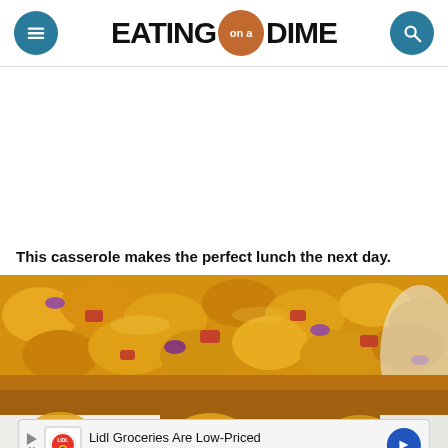EATING on a DIME
This casserole makes the perfect lunch the next day.
[Figure (photo): Close-up photo of a casserole dish with tater tot casserole topped with melted cheese, red onion, and red bell pepper pieces]
Lidl Groceries Are Low-Priced
Lidl